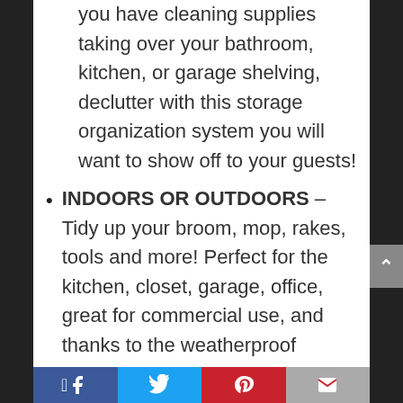you have cleaning supplies taking over your bathroom, kitchen, or garage shelving, declutter with this storage organization system you will want to show off to your guests!
INDOORS OR OUTDOORS – Tidy up your broom, mop, rakes, tools and more! Perfect for the kitchen, closet, garage, office, great for commercial use, and thanks to the weatherproof design, this holder even works outdoors or on the shed for your garden tools!
NO-SLIDE GUARANTEE –
Facebook | Twitter | Pinterest | Email